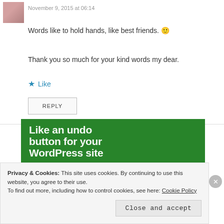November 9, 2015 at 06:14
Words like to hold hands, like best friends. 🙂
Thank you so much for your kind words my dear.
★ Like
REPLY
[Figure (screenshot): Green WordPress advertisement banner showing text 'Like an undo button for your WordPress site' with a white 'Back up your site' button]
Privacy & Cookies: This site uses cookies. By continuing to use this website, you agree to their use.
To find out more, including how to control cookies, see here: Cookie Policy
Close and accept